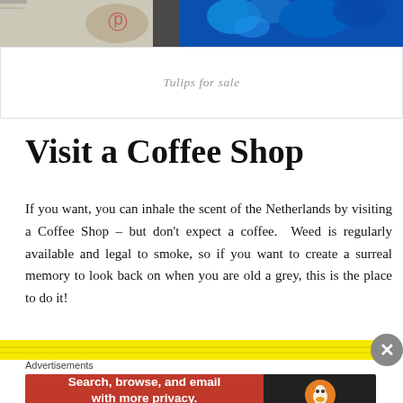[Figure (photo): Top photo strip showing partial image with grey/beige tones on left half and bright blue tones on right half]
Tulips for sale
Visit a Coffee Shop
If you want, you can inhale the scent of the Netherlands by visiting a Coffee Shop – but don't expect a coffee. Weed is regularly available and legal to smoke, so if you want to create a surreal memory to look back on when you are old a grey, this is the place to do it!
[Figure (photo): Partial image strip at bottom showing yellow background]
Advertisements
[Figure (screenshot): DuckDuckGo advertisement banner: Search, browse, and email with more privacy. All in One Free App]